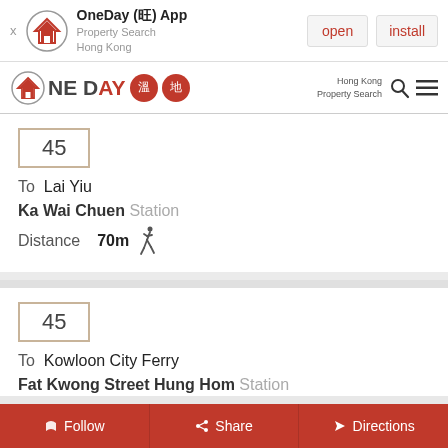[Figure (screenshot): OneDay app install banner with logo, open and install buttons]
OneDay (旺) App Property Search Hong Kong
45
To Lai Yiu
Ka Wai Chuen Station
Distance 70m
45
To Kowloon City Ferry
Fat Kwong Street Hung Hom Station
Follow  Share  Directions